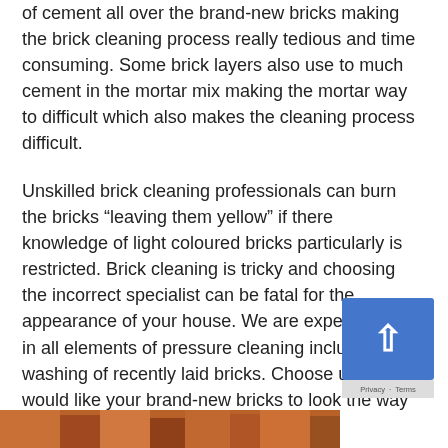of cement all over the brand-new bricks making the brick cleaning process really tedious and time consuming. Some brick layers also use to much cement in the mortar mix making the mortar way to difficult which also makes the cleaning process difficult.
Unskilled brick cleaning professionals can burn the bricks “leaving them yellow” if there knowledge of light coloured bricks particularly is restricted. Brick cleaning is tricky and choosing the incorrect specialist can be fatal for the appearance of your house. We are experienced in all elements of pressure cleaning including the washing of recently laid bricks. Choose us if you would like your brand-new bricks to look the way they should.
[Figure (photo): A partial photo of bricks visible at the bottom of the page]